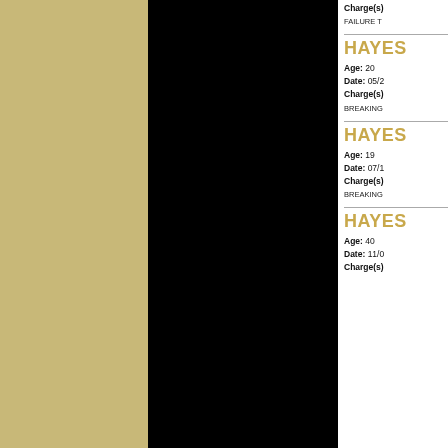Charge(s)
FAILURE T
HAYES
Age: 20
Date: 05/2
Charge(s)
BREAKING
HAYES
Age: 19
Date: 07/1
Charge(s)
BREAKING
HAYES
Age: 40
Date: 11/0
Charge(s)